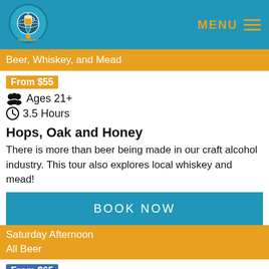[Figure (logo): Brew Cruise circular logo with globe and beer mug]
MENU
Beer, Whiskey, and Mead
From $55
Ages 21+
3.5 Hours
Hops, Oak and Honey
There is more than beer being made in our craft alcohol industry. This tour also explores local whiskey and mead!
BOOK NOW
Saturday Afternoon
All Beer
From $65
Ages 21+
3.5 Hours
Beers of Madison County